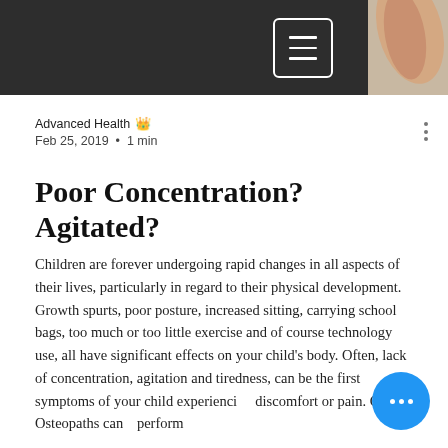[Figure (photo): Dark header bar with hamburger menu button and a finger/hand photo on the right]
Advanced Health · Feb 25, 2019 · 1 min
Poor Concentration? Agitated?
Children are forever undergoing rapid changes in all aspects of their lives, particularly in regard to their physical development. Growth spurts, poor posture, increased sitting, carrying school bags, too much or too little exercise and of course technology use, all have significant effects on your child's body. Often, lack of concentration, agitation and tiredness, can be the first symptoms of your child experiencing discomfort or pain. Our Osteopaths can perform